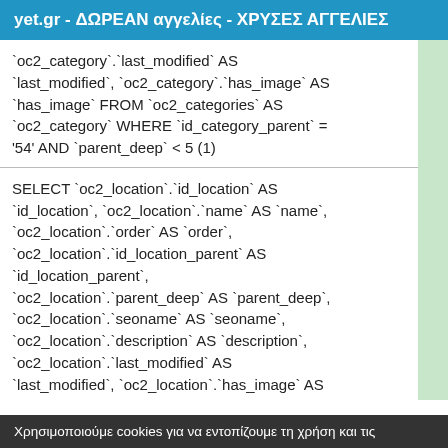yet.gr - ΔΩΡΕΑΝ αγγελίες - ΧΡΥΣΕΣ ΑΓΓΕΛΙΕΣ
`oc2_category`.`last_modified` AS `last_modified`, `oc2_category`.`has_image` AS `has_image` FROM `oc2_categories` AS `oc2_category` WHERE `id_category_parent` = '54' AND `parent_deep` < 5 (1)
SELECT `oc2_location`.`id_location` AS `id_location`, `oc2_location`.`name` AS `name`, `oc2_location`.`order` AS `order`, `oc2_location`.`id_location_parent` AS `id_location_parent`, `oc2_location`.`parent_deep` AS `parent_deep`, `oc2_location`.`seoname` AS `seoname`, `oc2_location`.`description` AS `description`, `oc2_location`.`last_modified` AS `last_modified`, `oc2_location`.`has_image` AS `has_image`, `oc2_location`.`latitude` AS
Χρησιμοποιούμε cookies για να εντοπίζουμε τη χρήση και τις